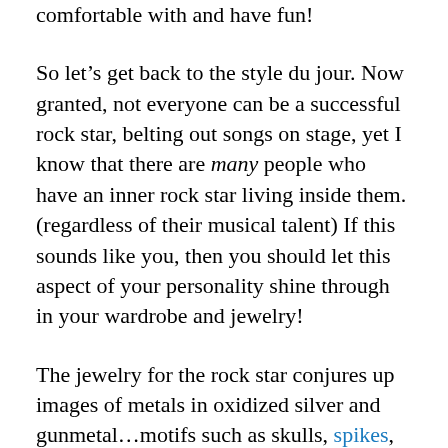comfortable with and have fun!
So let’s get back to the style du jour. Now granted, not everyone can be a successful rock star, belting out songs on stage, yet I know that there are many people who have an inner rock star living inside them. (regardless of their musical talent) If this sounds like you, then you should let this aspect of your personality shine through in your wardrobe and jewelry!
The jewelry for the rock star conjures up images of metals in oxidized silver and gunmetal…motifs such as skulls, spikes, angel wings…leather cuffs…and black diamonds. But you have to select pieces carefully, as you don’t